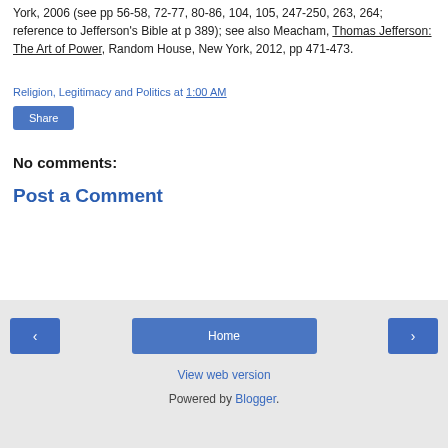York, 2006 (see pp 56-58, 72-77, 80-86, 104, 105, 247-250, 263, 264; reference to Jefferson's Bible at p 389); see also Meacham, Thomas Jefferson: The Art of Power, Random House, New York, 2012, pp 471-473.
Religion, Legitimacy and Politics at 1:00 AM
Share
No comments:
Post a Comment
‹  Home  ›  View web version  Powered by Blogger.